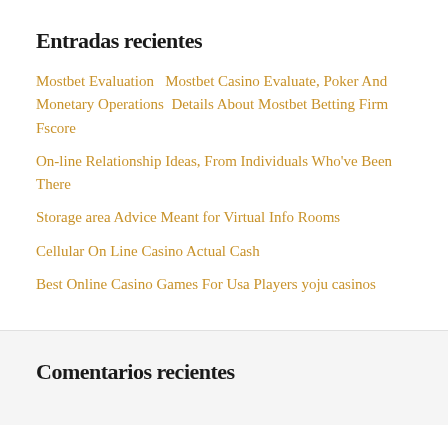Entradas recientes
Mostbet Evaluation   Mostbet Casino Evaluate, Poker And Monetary Operations  Details About Mostbet Betting Firm Fscore
On-line Relationship Ideas, From Individuals Who've Been There
Storage area Advice Meant for Virtual Info Rooms
Cellular On Line Casino Actual Cash
Best Online Casino Games For Usa Players yoju casinos
Comentarios recientes